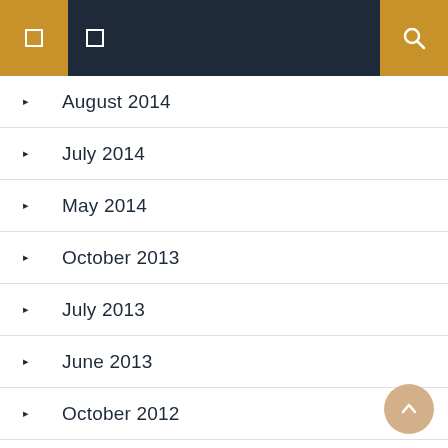Navigation header with menu and search icons
August 2014
July 2014
May 2014
October 2013
July 2013
June 2013
October 2012
January 2012
January 2010